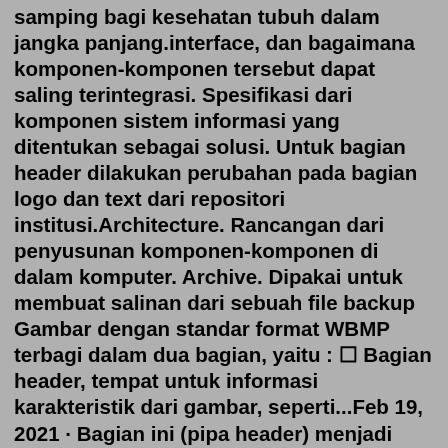samping bagi kesehatan tubuh dalam jangka panjang.interface, dan bagaimana komponen-komponen tersebut dapat saling terintegrasi. Spesifikasi dari komponen sistem informasi yang ditentukan sebagai solusi. Untuk bagian header dilakukan perubahan pada bagian logo dan text dari repositori institusi.Architecture. Rancangan dari penyusunan komponen-komponen di dalam komputer. Archive. Dipakai untuk membuat salinan dari sebuah file backup Gambar dengan standar format WBMP terbagi dalam dua bagian, yaitu : ¤ Bagian header, tempat untuk informasi karakteristik dari gambar, seperti...Feb 19, 2021 · Bagian ini (pipa header) menjadi bagian paling penting dlm sistem plumbing. Berikut ini skema pemipaan dalam sebuah rumah tinggal menggunakan sistem header : Air dari PDAM dialirkan masuk ke torn/ tanki air yg diletakkan di lantai atap, lewat pipa 3/4″ (jika pakai pipa 1/2″ spt kebanyakan rumah di kampung, kerja pompa jetpump menjadi berat ... Label adalah bagian dari header, memiliki panjang yang bersifat tetap